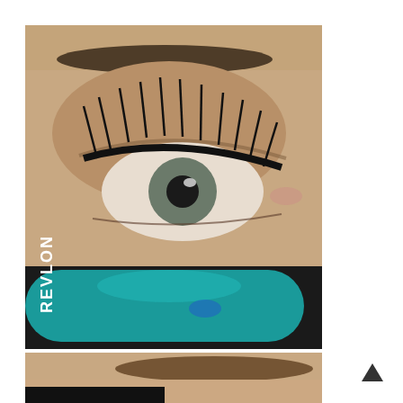[Figure (photo): Close-up photo of a person's eye with mascara on long lashes and a teal/turquoise Revlon mascara tube held below the eye covering part of the face. Black background behind the mascara tube. The eye has heavy black mascara and natural skin tones.]
[Figure (photo): Close-up photo of a person's lower eye area and lashes from below, showing natural lower lashes and brow. A black rectangle censors part of the image in the lower left corner. Skin tones of face visible.]
[Figure (other): A small upward-pointing caret/arrow symbol in dark color on white background at the bottom right of the page, indicating scroll up or navigation.]